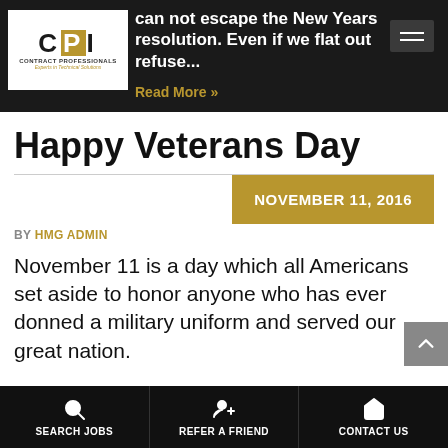CPI Contract Professionals — Experts in Technical Solutions. can not escape the New Years resolution. Even if we flat out refuse... Read More »
Happy Veterans Day
NOVEMBER 11, 2016
BY HMG ADMIN
November 11 is a day which all Americans set aside to honor anyone who has ever donned a military uniform and served our great nation.
SEARCH JOBS   REFER A FRIEND   CONTACT US